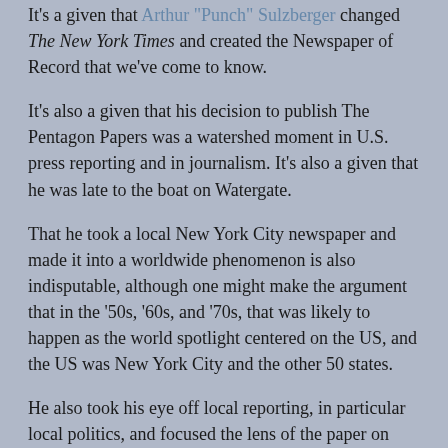It's a given that Arthur "Punch" Sulzberger changed The New York Times and created the Newspaper of Record that we've come to know.
It's also a given that his decision to publish The Pentagon Papers was a watershed moment in U.S. press reporting and in journalism. It's also a given that he was late to the boat on Watergate.
That he took a local New York City newspaper and made it into a worldwide phenomenon is also indisputable, although one might make the argument that in the '50s, '60s, and '70s, that was likely to happen as the world spotlight centered on the US, and the US was New York City and the other 50 states.
He also took his eye off local reporting, in particular local politics, and focused the lens of the paper on national politics. It sold newspapers, to be sure, but also sold the people of NYC up the river. What had been the most reliable source of hard facts about the city had ceded the field to the sensationalist New York Post (then a liberal rag) and the middle-of-the-road New York Daily News.
So one hope that New York readers would have also had a chance...